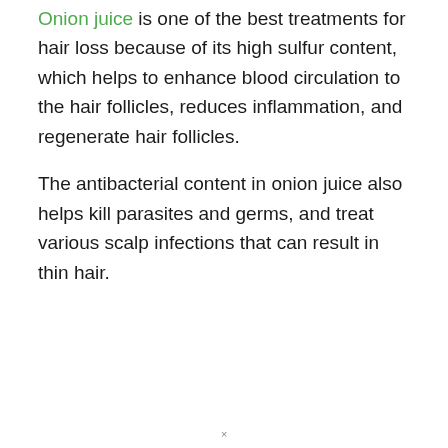Onion juice is one of the best treatments for hair loss because of its high sulfur content, which helps to enhance blood circulation to the hair follicles, reduces inflammation, and regenerate hair follicles.
The antibacterial content in onion juice also helps kill parasites and germs, and treat various scalp infections that can result in thin hair.